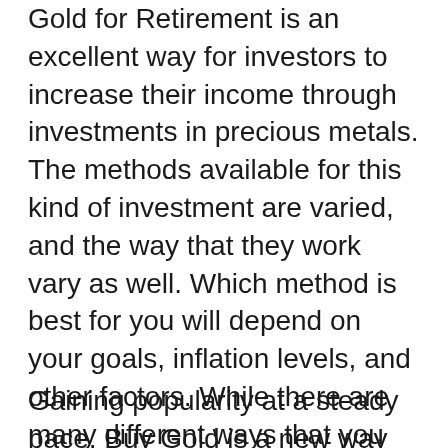Gold for Retirement is an excellent way for investors to increase their income through investments in precious metals. The methods available for this kind of investment are varied, and the way that they work vary as well. Which method is best for you will depend on your goals, inflation levels, and other factors. While there are many different ways that you can buy gold bullion and coins for your retirement, knowing about them beforehand is beneficial so that you can make an informed decision. As always, it's important to think about all of the options that you have so that you can make the best possible decision for your own needs.
Gaining popularity at a steady pace, Buy Gold is a new way for consumers to obtain